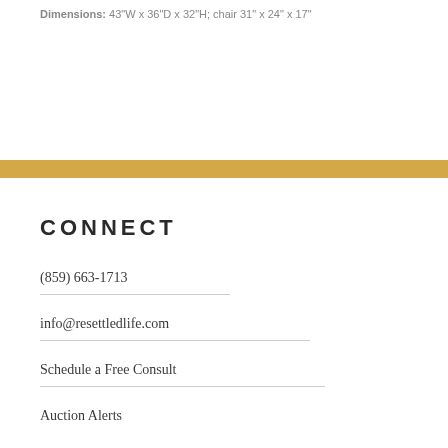Dimensions: 43"W x 36"D x 32"H; chair 31" x 24" x 17"
CONNECT
(859) 663-1713
info@resettledlife.com
Schedule a Free Consult
Auction Alerts